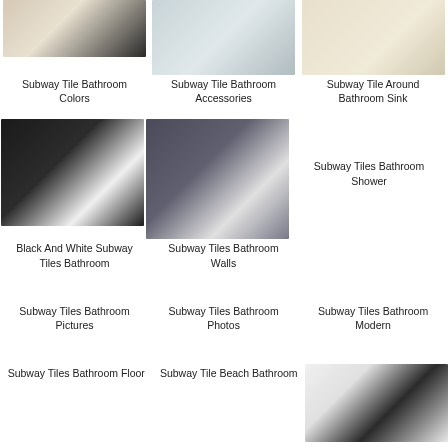[Figure (photo): Subway tile bathroom with white tiles and dark floor]
Subway Tile Bathroom Colors
[Figure (photo): Subway tile bathroom accessories, glass shower]
Subway Tile Bathroom Accessories
[Figure (photo): Subway tile around bathroom sink, marble tiles]
Subway Tile Around Bathroom Sink
[Figure (photo): Black and white subway tiles with white bathtub]
Black And White Subway Tiles Bathroom
[Figure (photo): Gray subway tiles bathroom walls with bathtub]
Subway Tiles Bathroom Walls
Subway Tiles Bathroom Shower
Subway Tiles Bathroom Pictures
Subway Tiles Bathroom Photos
Subway Tiles Bathroom Modern
Subway Tiles Bathroom Floor
Subway Tile Beach Bathroom
[Figure (photo): Dark subway tile bathroom with pedestal sink and clawfoot tub]